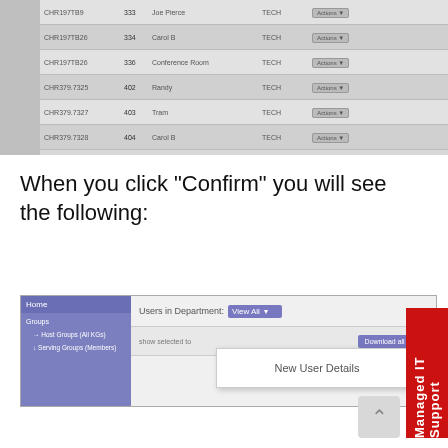[Figure (screenshot): Top portion of a web application table showing rows with columns for date/ID, number, name, type, and actions. Rows visible include entries like CHR197TB9, CHR197TB26, CHR197TB26 Conference Room, CHR379.7325, CHR379.7327, CHR379.7328 with IDs 333, 334, 336, 402, 403, 404 under TECH department with Actions dropdown buttons.]
When you click “Confirm” you will see the following:
[Figure (screenshot): Screenshot of a web application showing a sidebar with navigation items in purple/blue, and main content area with 'Users in Department: View All' dropdown, a 'show selected to' bar with 'Download all Lists' button, and a modal popup showing 'New User Details'.]